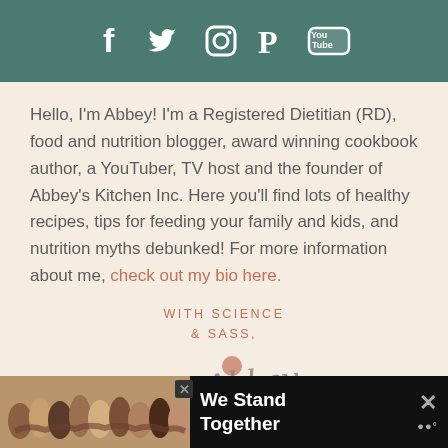[Figure (other): Social media icons bar with Facebook, Twitter, Instagram, Pinterest, YouTube icons on teal background]
Hello, I'm Abbey! I'm a Registered Dietitian (RD), food and nutrition blogger, award winning cookbook author, a YouTuber, TV host and the founder of Abbey's Kitchen Inc. Here you'll find lots of healthy recipes, tips for feeding your family and kids, and nutrition myths debunked! For more information about me, check out my bio here.
WITH SCIENCE & SASS,
[Figure (illustration): Cursive signature of Abbey]
[Figure (photo): Advertisement banner: We Stand Together, showing group of people with arms around each other]